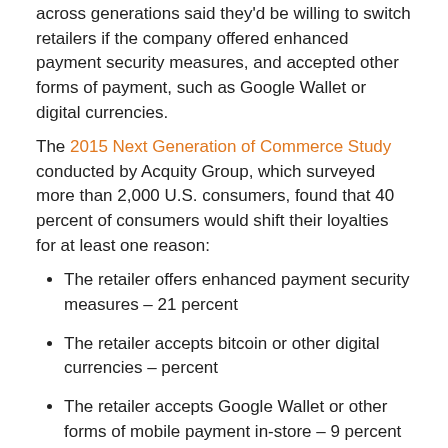across generations said they'd be willing to switch retailers if the company offered enhanced payment security measures, and accepted other forms of payment, such as Google Wallet or digital currencies.
The 2015 Next Generation of Commerce Study conducted by Acquity Group, which surveyed more than 2,000 U.S. consumers, found that 40 percent of consumers would shift their loyalties for at least one reason:
The retailer offers enhanced payment security measures – 21 percent
The retailer accepts bitcoin or other digital currencies – percent
The retailer accepts Google Wallet or other forms of mobile payment in-store – 9 percent
The retailer offers social engagement as a form of currency redeemable for discounts or coupons – 18 percent